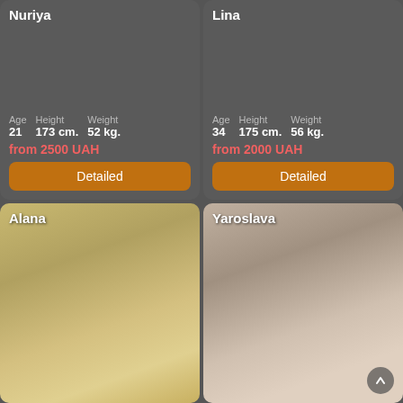Nuriya
Age 21  Height 173 cm.  Weight 52 kg.
from 2500 UAH
Detailed
Lina
Age 34  Height 175 cm.  Weight 56 kg.
from 2000 UAH
Detailed
[Figure (photo): Photo card for Alana]
Alana
[Figure (photo): Photo card for Yaroslava]
Yaroslava